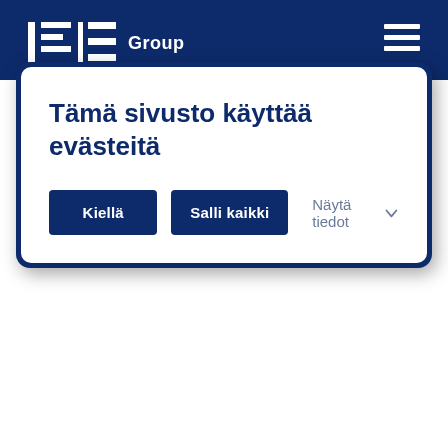[Figure (logo): RE Group logo with stylized letters and horizontal lines, white on dark blue background, with hamburger menu icon on the right]
Tämä sivusto käyttää evästeitä
Kiellä | Salli kaikki | Näytä tiedot